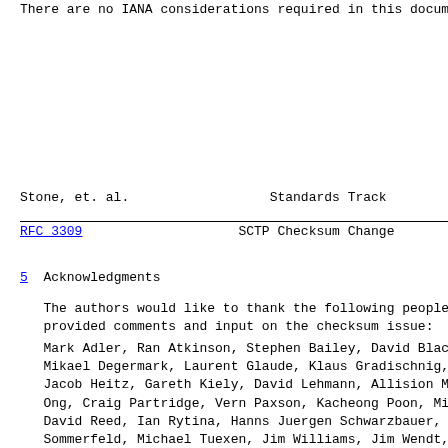There are no IANA considerations required in this document.
Stone, et. al.                  Standards Track
RFC 3309                  SCTP Checksum Change
5  Acknowledgments
The authors would like to thank the following people for having provided comments and input on the checksum issue:
Mark Adler, Ran Atkinson, Stephen Bailey, David Black, Mikael Degermark, Laurent Glaude, Klaus Gradischnig, A Jacob Heitz, Gareth Kiely, David Lehmann, Allision Man Ong, Craig Partridge, Vern Paxson, Kacheong Poon, Mich David Reed, Ian Rytina, Hanns Juergen Schwarzbauer, Ch Sommerfeld, Michael Tuexen, Jim Williams, Jim Wendt,